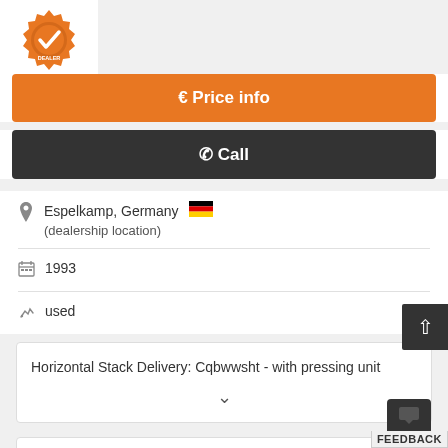[Figure (logo): Orange certified dealer gear/badge logo with checkmark]
€ Price info
📞 Call
Espelkamp, Germany 🇩🇪
(dealership location)
1993
used
Horizontal Stack Delivery: Cqbwwsht - with pressing unit
FEEDBACK